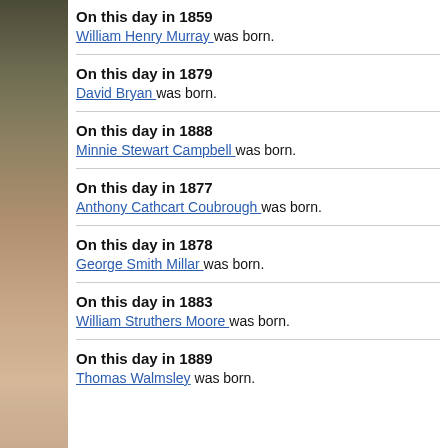On this day in 1859
William Henry Murray was born.
On this day in 1879
David Bryan was born.
On this day in 1888
Minnie Stewart Campbell was born.
On this day in 1877
Anthony Cathcart Coubrough was born.
On this day in 1878
George Smith Millar was born.
On this day in 1883
William Struthers Moore was born.
On this day in 1889
Thomas Walmsley was born.